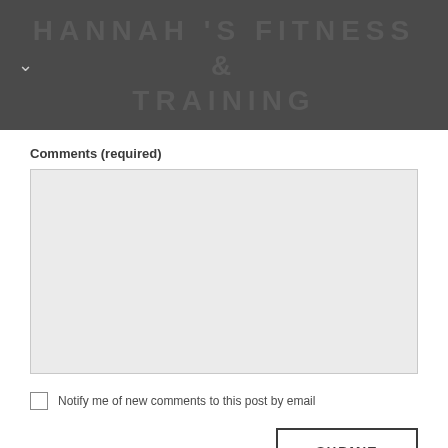HANNAH 'S FITNESS & TRAINING
Comments (required)
[Figure (other): Empty comment text area input box with light gray background]
Notify me of new comments to this post by email
SUBMIT